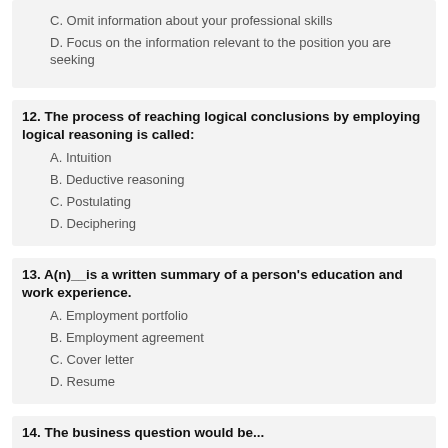C. Omit information about your professional skills
D. Focus on the information relevant to the position you are seeking
12. The process of reaching logical conclusions by employing logical reasoning is called:
A. Intuition
B. Deductive reasoning
C. Postulating
D. Deciphering
13. A(n)__ is a written summary of a person's education and work experience.
A. Employment portfolio
B. Employment agreement
C. Cover letter
D. Resume
14. The business question would be...